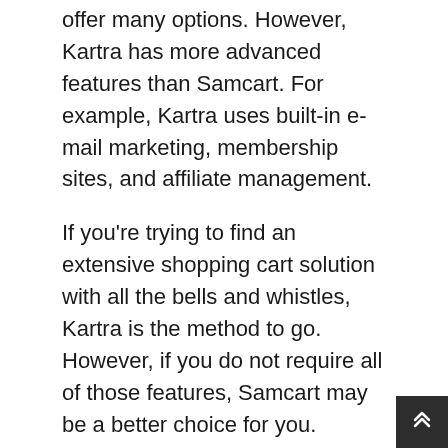offer many options. However, Kartra has more advanced features than Samcart. For example, Kartra uses built-in e-mail marketing, membership sites, and affiliate management.
If you're trying to find an extensive shopping cart solution with all the bells and whistles, Kartra is the method to go. However, if you do not require all of those features, Samcart may be a better choice for you.
Rates is constantly a crucial consideration when choosing any kind of software. Samcart and Kartra both have various pricing structures. Samcart has a flat regular monthly fee, while Kartra has a tiered pricing structure based upon the number of contacts you have.
Both platforms use a discount rate if you pay each